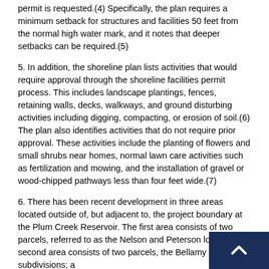permit is requested.(4) Specifically, the plan requires a minimum setback for structures and facilities 50 feet from the normal high water mark, and it notes that deeper setbacks can be required.(5)
5. In addition, the shoreline plan lists activities that would require approval through the shoreline facilities permit process. This includes landscape plantings, fences, retaining walls, decks, walkways, and ground disturbing activities including digging, compacting, or erosion of soil.(6) The plan also identifies activities that do not require prior approval. These activities include the planting of flowers and small shrubs near homes, normal lawn care activities such as fertilization and mowing, and the installation of gravel or wood-chipped pathways less than four feet wide.(7)
6. There has been recent development in three areas located outside of, but adjacent to, the project boundary at the Plum Creek Reservoir. The first area consists of two parcels, referred to as the Nelson and Peterson lots; the second area consists of two parcels, the Bellamy and Hutt subdivisions; and the third area consists of one parcel, the Wightman subdiv...